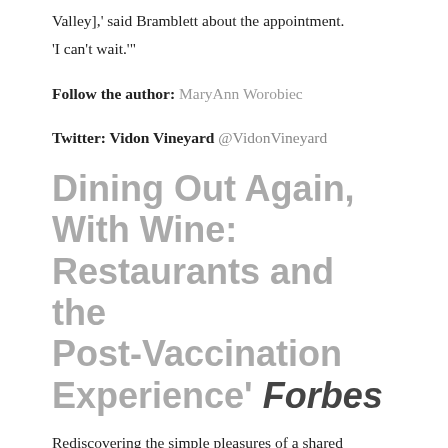Valley],' said Bramblett about the appointment.
'I can't wait.'"
Follow the author: MaryAnn Worobiec
Twitter: Vidon Vineyard @VidonVineyard
Dining Out Again, With Wine: Restaurants and the Post-Vaccination Experience' Forbes
Rediscovering the simple pleasures of a shared